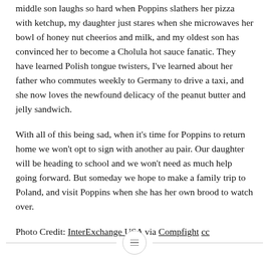middle son laughs so hard when Poppins slathers her pizza with ketchup, my daughter just stares when she microwaves her bowl of honey nut cheerios and milk, and my oldest son has convinced her to become a Cholula hot sauce fanatic. They have learned Polish tongue twisters, I've learned about her father who commutes weekly to Germany to drive a taxi, and she now loves the newfound delicacy of the peanut butter and jelly sandwich.
With all of this being sad, when it's time for Poppins to return home we won't opt to sign with another au pair. Our daughter will be heading to school and we won't need as much help going forward. But someday we hope to make a family trip to Poland, and visit Poppins when she has her own brood to watch over.
Photo Credit: InterExchange USA via Compfight cc